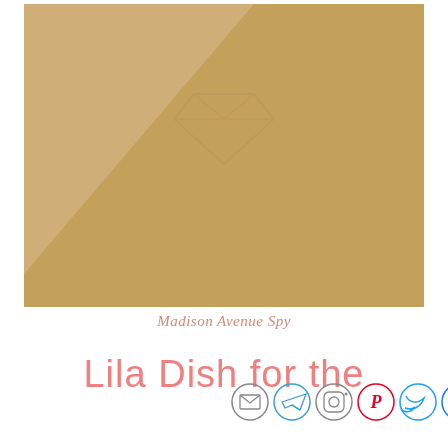[Figure (illustration): Gold/tan colored background image with diagonal light band and a faint diamond gem outline icon in the upper center area]
Madison Avenue Spy
Lila Dish for the
[Figure (infographic): Row of social media icon circles: email/envelope, Telegram, Instagram, Pinterest, Twitter, Facebook]